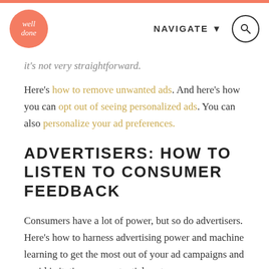well done | NAVIGATE | [search]
it's not very straightforward.
Here's how to remove unwanted ads. And here's how you can opt out of seeing personalized ads. You can also personalize your ad preferences.
ADVERTISERS: HOW TO LISTEN TO CONSUMER FEEDBACK
Consumers have a lot of power, but so do advertisers. Here's how to harness advertising power and machine learning to get the most out of your ad campaigns and avoid irritating your potential customers.